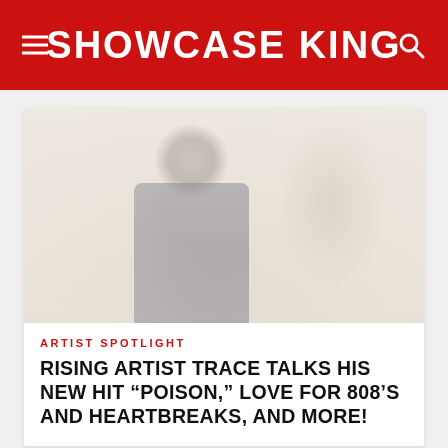SHOWCASE KING
[Figure (photo): A faded, washed-out photograph of a young male artist looking downward, with another figure partially visible in the background. Muted, light beige tones throughout.]
ARTIST SPOTLIGHT
RISING ARTIST TRACE TALKS HIS NEW HIT “POISON,” LOVE FOR 808’S AND HEARTBREAKS, AND MORE!